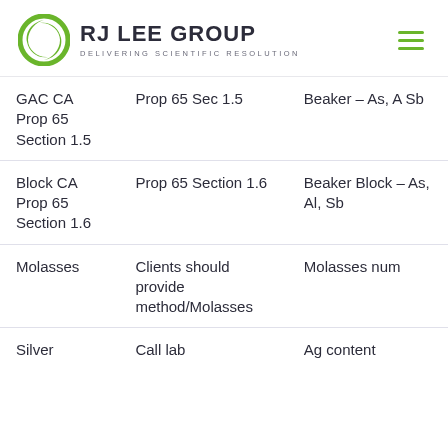RJ Lee Group — Delivering Scientific Resolution
| Product | Method | Parameters |
| --- | --- | --- |
| GAC CA Prop 65 Section 1.5 | Prop 65 Sec 1.5 | Beaker – As, A Sb |
| Block CA Prop 65 Section 1.6 | Prop 65 Section 1.6 | Beaker Block – As, Al, Sb |
| Molasses | Clients should provide method/Molasses | Molasses num |
| Silver | Call lab | Ag content |